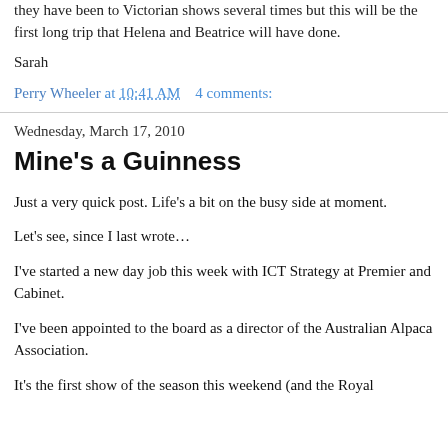they have been to Victorian shows several times but this will be the first long trip that Helena and Beatrice will have done.
Sarah
Perry Wheeler at 10:41 AM   4 comments:
Wednesday, March 17, 2010
Mine's a Guinness
Just a very quick post. Life's a bit on the busy side at moment.
Let's see, since I last wrote…
I've started a new day job this week with ICT Strategy at Premier and Cabinet.
I've been appointed to the board as a director of the Australian Alpaca Association.
It's the first show of the season this weekend (and the Royal